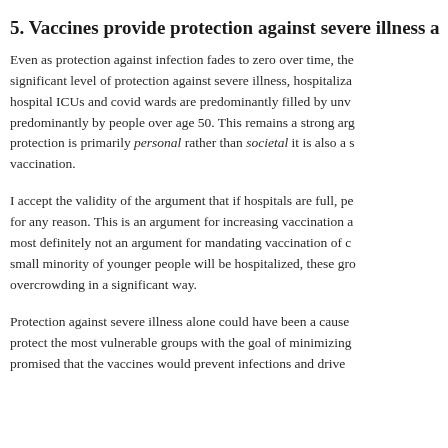5. Vaccines provide protection against severe illness a…
Even as protection against infection fades to zero over time, the vaccines provide a significant level of protection against severe illness, hospitalization and death. Most hospital ICUs and covid wards are predominantly filled by unvaccinated people and predominantly by people over age 50. This remains a strong argument, even if this protection is primarily personal rather than societal it is also a strong argument for vaccination.
I accept the validity of the argument that if hospitals are full, people cannot get care for any reason. This is an argument for increasing vaccination among older people, but most definitely not an argument for mandating vaccination of children. Since only a small minority of younger people will be hospitalized, these groups do not cause overcrowding in a significant way.
Protection against severe illness alone could have been a cause to vaccinate and to protect the most vulnerable groups with the goal of minimizing deaths. Politicians promised that the vaccines would prevent infections and drive…